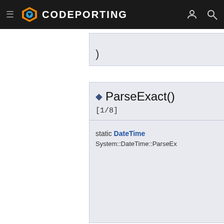CODEPORTING
◆ ParseExact() [1/8]
static DateTime System::DateTime::ParseEx...
◆ ParseExact() [2/8]